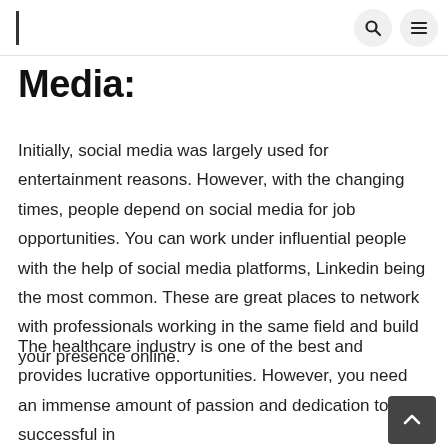Media:
Media:
Initially, social media was largely used for entertainment reasons. However, with the changing times, people depend on social media for job opportunities. You can work under influential people with the help of social media platforms, Linkedin being the most common. These are great places to network with professionals working in the same field and build your presence online.
The healthcare industry is one of the best and provides lucrative opportunities. However, you need an immense amount of passion and dedication to be successful in